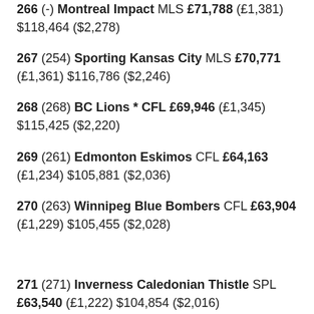266 (-) Montreal Impact MLS £71,788 (£1,381) $118,464 ($2,278)
267 (254) Sporting Kansas City MLS £70,771 (£1,361) $116,786 ($2,246)
268 (268) BC Lions * CFL £69,946 (£1,345) $115,425 ($2,220)
269 (261) Edmonton Eskimos CFL £64,163 (£1,234) $105,881 ($2,036)
270 (263) Winnipeg Blue Bombers CFL £63,904 (£1,229) $105,455 ($2,028)
271 (271) Inverness Caledonian Thistle SPL £63,540 (£1,222) $104,854 ($2,016)